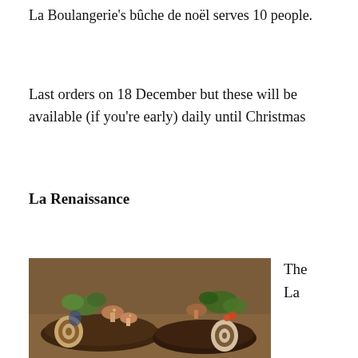La Boulangerie's bûche de noël serves 10 people.
Last orders on 18 December but these will be available (if you're early) daily until Christmas
La Renaissance
[Figure (photo): Photo of decorated bûche de noël yule log cakes with marzipan mushrooms, holly, and spiral cross-sections visible]
The La